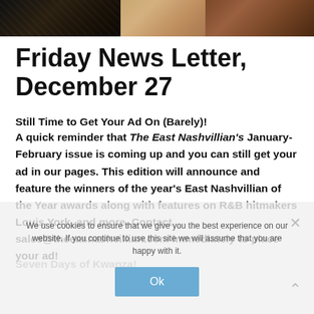[Figure (photo): Cropped photo strip showing people, partially visible at the top of the page]
Friday News Letter, December 27
Still Time to Get Your Ad On (Barely)!
A quick reminder that The East Nashvillian's January-February issue is coming up and you can still get your ad in our pages. This edition will announce and feature the winners of the year's East Nashvillian of the Year awards along with features on R&B hitmakers Louis York, and more. Contact sales@theeasnashvillian.com immediately to place your ad!
Seven Days of Kwanza!